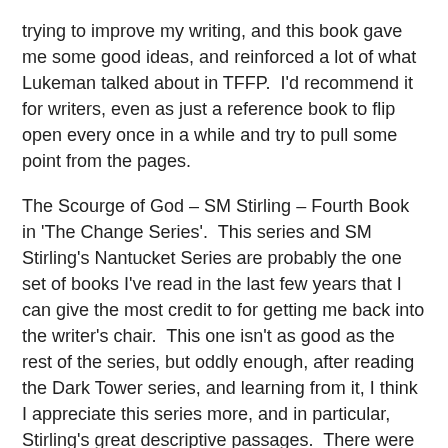trying to improve my writing, and this book gave me some good ideas, and reinforced a lot of what Lukeman talked about in TFFP.  I'd recommend it for writers, even as just a reference book to flip open every once in a while and try to pull some point from the pages.
The Scourge of God – SM Stirling – Fourth Book in 'The Change Series'.  This series and SM Stirling's Nantucket Series are probably the one set of books I've read in the last few years that I can give the most credit to for getting me back into the writer's chair.  This one isn't as good as the rest of the series, but oddly enough, after reading the Dark Tower series, and learning from it, I think I appreciate this series more, and in particular, Stirling's great descriptive passages.  There were a lot of negative reviews for this book from loyal fans, and a few months ago, I would have panned it too, but if you take a step back, and enjoy the journey of the reading, instead of just rushing through it to get to the end, it is an enjoyable tale.
Ender's Shadow – Orson Scott Card – Great Book, probably as good as Ender's Game.  Must-read science fiction